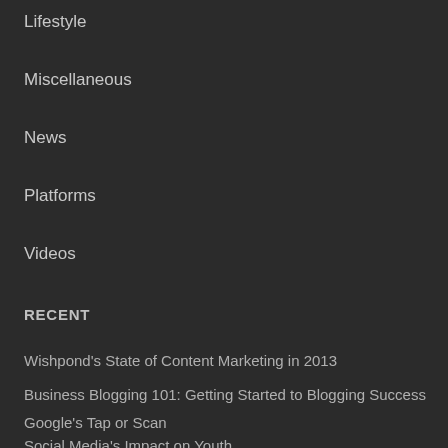Lifestyle
Miscellaneous
News
Platforms
Videos
RECENT
Wishpond's State of Content Marketing in 2013
Business Blogging 101: Getting Started to Blogging Success
Google's Tap or Scan
Social Media's Impact on Youth